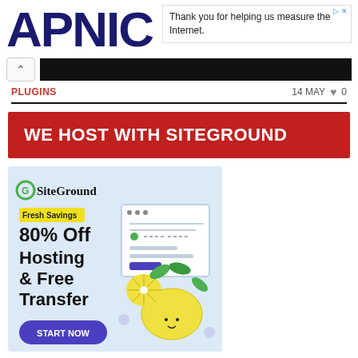APNIC
Thank you for helping us measure the Internet.
PLUGINS   14 MAY  ♥ 0
WE HOST WITH SITEGROUND
[Figure (illustration): SiteGround advertisement banner with logo, 'Fresh Savings' badge, '80% Off Hosting & Free Transfer' offer text, 'START NOW' button, and lemon/browser illustration on light blue background]